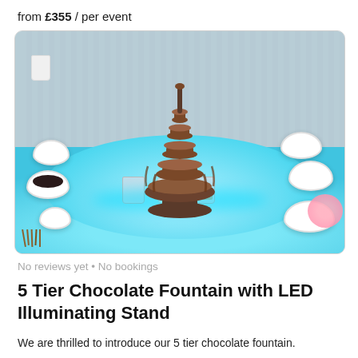from £355 / per event
[Figure (photo): A 5-tier chocolate fountain on a round illuminated stand glowing in cyan/teal LED light, surrounded by white bowls of dipping items and accompaniments on a white table.]
No reviews yet • No bookings
5 Tier Chocolate Fountain with LED Illuminating Stand
We are thrilled to introduce our 5 tier chocolate fountain.